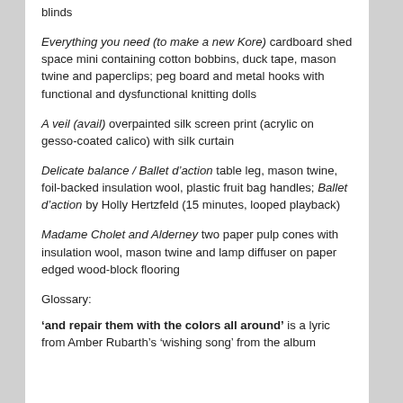blinds
Everything you need (to make a new Kore) cardboard shed space mini containing cotton bobbins, duck tape, mason twine and paperclips; peg board and metal hooks with functional and dysfunctional knitting dolls
A veil (avail) overpainted silk screen print (acrylic on gesso-coated calico) with silk curtain
Delicate balance / Ballet d’action table leg, mason twine, foil-backed insulation wool, plastic fruit bag handles; Ballet d’action by Holly Hertzfeld (15 minutes, looped playback)
Madame Cholet and Alderney two paper pulp cones with insulation wool, mason twine and lamp diffuser on paper edged wood-block flooring
Glossary:
‘and repair them with the colors all around’ is a lyric from Amber Rubarth’s ‘wishing song’ from the album